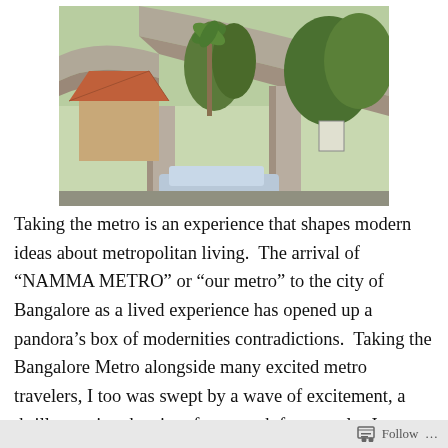[Figure (photo): Photograph taken from below a large curved concrete elevated metro rail viaduct structure. In the background are trees including a palm tree, a building with a tiled roof, and a vehicle visible at the bottom edge. Sky is visible through the opening.]
Taking the metro is an experience that shapes modern ideas about metropolitan living.  The arrival of “NAMMA METRO” or “our metro” to the city of Bangalore as a lived experience has opened up a pandora’s box of modernities contradictions.  Taking the Bangalore Metro alongside many excited metro travelers, I too was swept by a wave of excitement, a thrill at seeing the city of my youth from angles I never imagined, sudden vistas of neighborhoods I only knew from scurrying along on my bike through windy
Follow